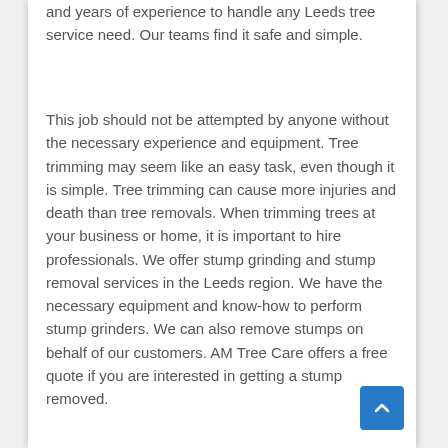and years of experience to handle any Leeds tree service need. Our teams find it safe and simple.
This job should not be attempted by anyone without the necessary experience and equipment. Tree trimming may seem like an easy task, even though it is simple. Tree trimming can cause more injuries and death than tree removals. When trimming trees at your business or home, it is important to hire professionals. We offer stump grinding and stump removal services in the Leeds region. We have the necessary equipment and know-how to perform stump grinders. We can also remove stumps on behalf of our customers. AM Tree Care offers a free quote if you are interested in getting a stump removed.